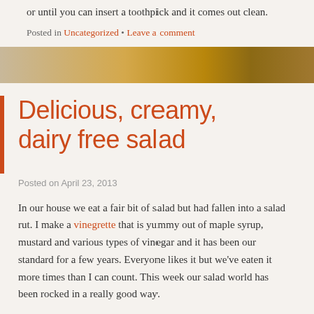or until you can insert a toothpick and it comes out clean.
Posted in Uncategorized • Leave a comment
[Figure (photo): A blurred warm-toned food/kitchen image strip showing a wooden surface and golden/amber colored background]
Delicious, creamy, dairy free salad
Posted on April 23, 2013
In our house we eat a fair bit of salad but had fallen into a salad rut. I make a vinegrette that is yummy out of maple syrup, mustard and various types of vinegar and it has been our standard for a few years. Everyone likes it but we've eaten it more times than I can count. This week our salad world has been rocked in a really good way.